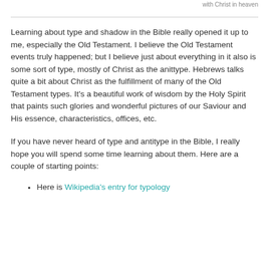with Christ in heaven
Learning about type and shadow in the Bible really opened it up to me, especially the Old Testament. I believe the Old Testament events truly happened; but I believe just about everything in it also is some sort of type, mostly of Christ as the anittype. Hebrews talks quite a bit about Christ as the fulfillment of many of the Old Testament types. It’s a beautiful work of wisdom by the Holy Spirit that paints such glories and wonderful pictures of our Saviour and His essence, characteristics, offices, etc.
If you have never heard of type and antitype in the Bible, I really hope you will spend some time learning about them. Here are a couple of starting points:
Here is Wikipedia’s entry for typology